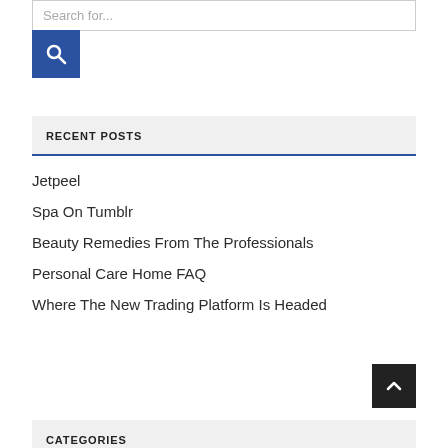Search for...
RECENT POSTS
Jetpeel
Spa On Tumblr
Beauty Remedies From The Professionals
Personal Care Home FAQ
Where The New Trading Platform Is Headed
CATEGORIES